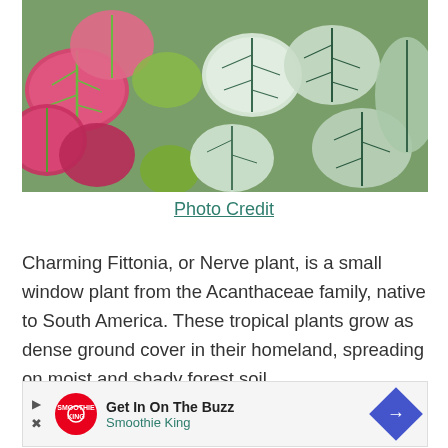[Figure (photo): Close-up photograph of Fittonia (Nerve plant) leaves showing pink/red leaves with green veining on the left side, and silver/white leaves with dark green veining on the right side.]
Photo Credit
Charming Fittonia, or Nerve plant, is a small window plant from the Acanthaceae family, native to South America. These tropical plants grow as dense ground cover in their homeland, spreading on moist and shady forest soil.
Fittonias got their scientific name after the first
[Figure (other): Advertisement banner: Get In On The Buzz - Smoothie King]